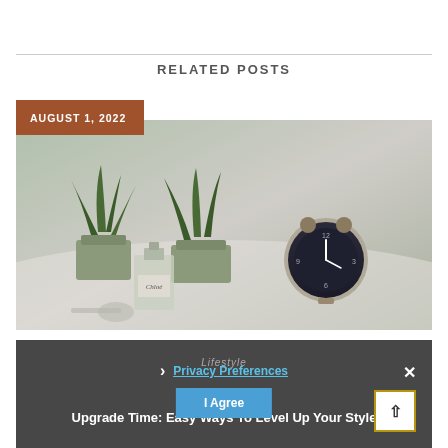RELATED POSTS
[Figure (photo): Lifestyle flat-lay photo showing two potted succulents, a Chloé perfume bottle, and a vintage alarm clock on a white draped surface]
AUGUST 1, 2022
Lifestyle
Upgrade Time: Easy Ways To Level Up Your Style
Privacy Preferences
I Agree